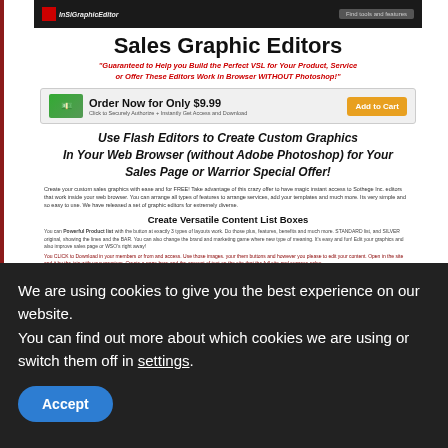[Figure (screenshot): Sales Graphic Editors website screenshot showing navigation bar, main title, subtitle, order box with price $9.99 and Add to Cart button, Flash editors heading, body text, and Create Versatile Content List Boxes section]
Sales Graphic Editors
"Guaranteed to Help you Build the Perfect VSL for Your Product, Service or Offer  These Editors Work in Browser WITHOUT Photoshop!"
Order Now for Only $9.99
Use Flash Editors to Create Custom Graphics In Your Web Browser (without Adobe Photoshop) for Your Sales Page or Warrior Special Offer!
Create your custom sales graphics with ease and for FREE! Take advantage of this crazy offer to have magic instant access to Sothege Inc. editors that work inside your web browser. You can arrange all types of features to arrange services, add your templates and much more. Its very simple and so easy to use. We have released a set of graphic editors for extremely diverse.
Create Versatile Content List Boxes
You can Powerful Product list with the button at exactly 3 types of layouts work. Do those plus, features, benefits and much more. STANDARD list, and SILVER original, showing the lines and the BAR. You can also change the brand and marketing game where new type of meaning. It's easy and fun! Edit your graphics and also improve sales page or WSO's right away!
CLICK APPROVED COURSE MEMBERS
What You Get
We are using cookies to give you the best experience on our website.
You can find out more about which cookies we are using or switch them off in settings.
Accept